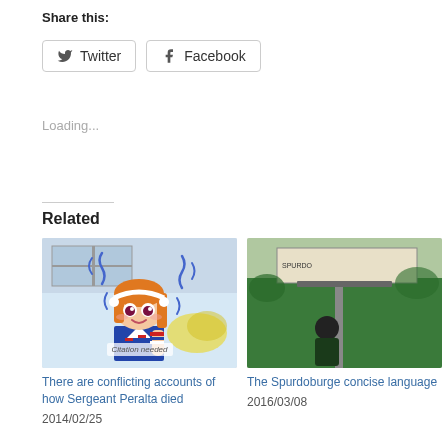Share this:
Twitter  Facebook
Loading...
Related
[Figure (photo): Anime girl character with orange hair in a sailor uniform, with blue squiggly lines around her and 'Citation needed' text overlay]
There are conflicting accounts of how Sergeant Peralta died
2014/02/25
[Figure (photo): Partially visible photo showing a person near green building with some structure overhead]
The Spurdoburge concise language
2016/03/08